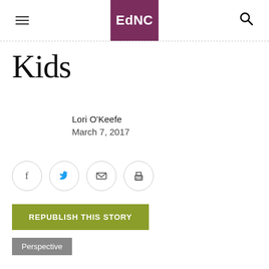EdNC
Kids
Lori O'Keefe
March 7, 2017
[Figure (infographic): Social sharing icons: Facebook, Twitter, Email, Print — each in a circle with light gray border]
REPUBLISH THIS STORY
Perspective